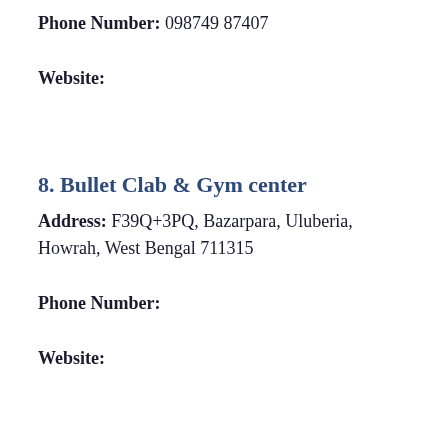Phone Number: 098749 87407
Website:
8. Bullet Clab & Gym center
Address: F39Q+3PQ, Bazarpara, Uluberia, Howrah, West Bengal 711315
Phone Number:
Website: